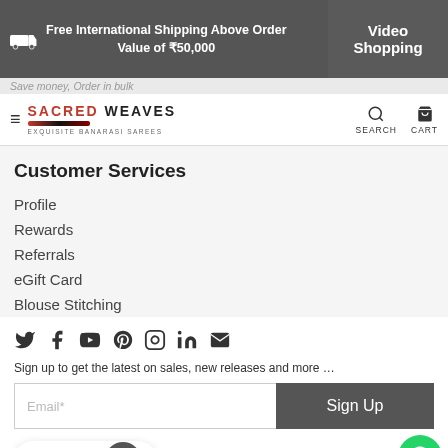Free International Shipping Above Order Value of ₹50,000 | Video Shopping
Save money, Order in bulk
[Figure (logo): Sacred Weaves logo - Exquisite Banarasi Sarees]
Customer Services
Profile
Rewards
Referrals
eGift Card
Blouse Stitching
[Figure (other): Social media icons row: Twitter, Facebook, YouTube, Pinterest, Instagram, LinkedIn, Email]
Sign up to get the latest on sales, new releases and more …
Email* | Sign Up button